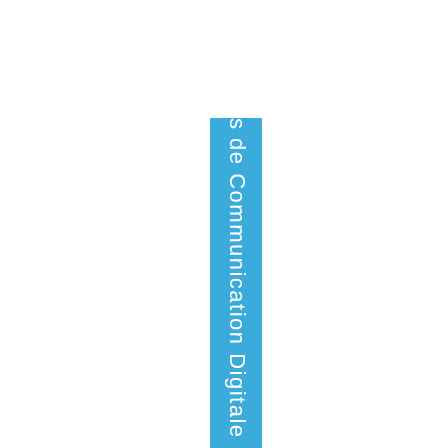[Figure (other): A vertical blue banner/strip with white rotated text reading 's de Communication Digitale', positioned in the center-left area of the page, running from top to bottom.]